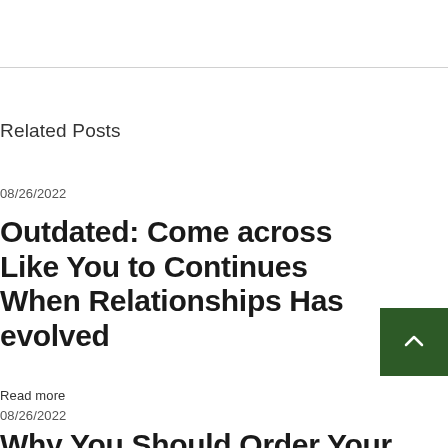Related Posts
08/26/2022
Outdated: Come across Like You to Continues When Relationships Has evolved
Read more
08/26/2022
Why You Should Order Your